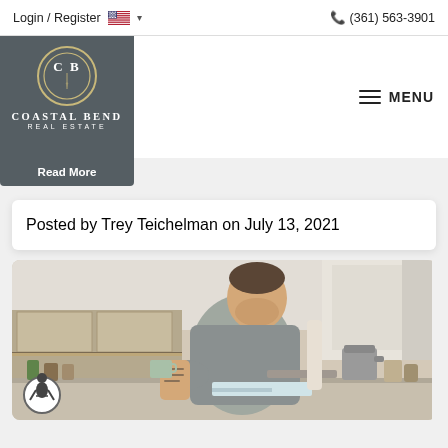Login / Register   (361) 563-3901
[Figure (logo): Coastal Bend Real Estate logo, circular emblem with CB initials on dark gray background]
Read More
MENU
Posted by Trey Teichelman on July 13, 2021
[Figure (photo): Man with tattoos wearing gray sweatshirt sitting at kitchen counter, drinking coffee and reading tablet/document. Kitchen background with cabinets and appliances visible.]